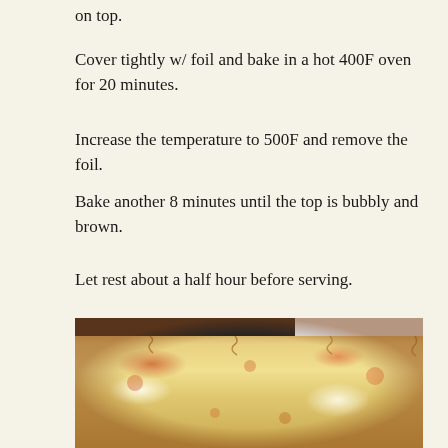on top.
Cover tightly w/ foil and bake in a hot 400F oven for 20 minutes.
Increase the temperature to 500F and remove the foil.
Bake another 8 minutes until the top is bubbly and brown.
Let rest about a half hour before serving.
[Figure (photo): A baked lasagna or pasta dish in a baking pan, showing a bubbly, golden-brown and orange-speckled cheesy top, freshly out of the oven.]